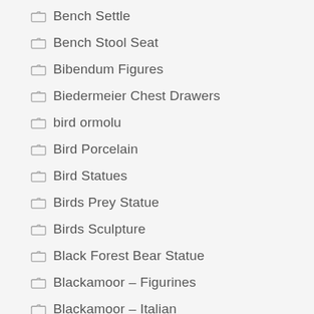Bench Settle
Bench Stool Seat
Bibendum Figures
Biedermeier Chest Drawers
bird ormolu
Bird Porcelain
Bird Statues
Birds Prey Statue
Birds Sculpture
Black Forest Bear Statue
Blackamoor – Figurines
Blackamoor – Italian
Blackamoor – Venetian